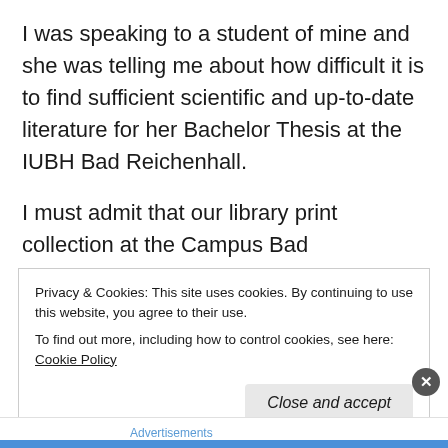I was speaking to a student of mine and she was telling me about how difficult it is to find sufficient scientific and up-to-date literature for her Bachelor Thesis at the IUBH Bad Reichenhall.
I must admit that our library print collection at the Campus Bad Reichenhall is woefully inadequate for the research needs of our students. But thankfully, as the world moves towards digitalization, there is some very good news for all you students.
Privacy & Cookies: This site uses cookies. By continuing to use this website, you agree to their use.
To find out more, including how to control cookies, see here: Cookie Policy
Close and accept
Advertisements